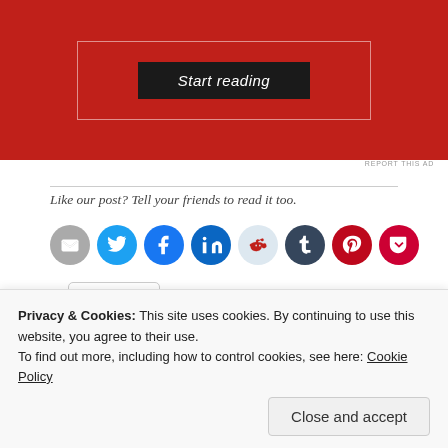[Figure (screenshot): Red advertisement banner with 'Start reading' button in dark box with white border]
REPORT THIS AD
Like our post? Tell your friends to read it too.
[Figure (infographic): Row of social sharing icon circles: email (grey), Twitter (blue), Facebook (blue), LinkedIn (dark blue), Reddit (light blue), Tumblr (dark), Pinterest (red), Pocket (red)]
More
Loading...
Privacy & Cookies: This site uses cookies. By continuing to use this website, you agree to their use.
To find out more, including how to control cookies, see here: Cookie Policy
Close and accept